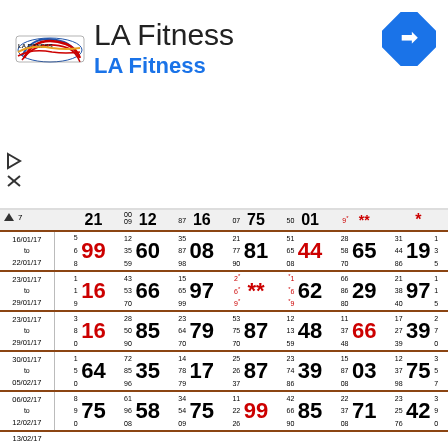[Figure (logo): LA Fitness logo with text 'LA Fitness' and blue subtitle 'LA Fitness', navigation arrow icon top right, small play and close icons on left side]
| Date | s1 | n1 | s2 | n2 | s3 | n3 | s4 | n4 | s5 | n5 | s6 | n6 | s7 | n7 | s8 |
| --- | --- | --- | --- | --- | --- | --- | --- | --- | --- | --- | --- | --- | --- | --- | --- |
| 16/01/17 to 22/01/17 | 5 6 8 | 99 | 35 59 | 60 | 87 98 | 08 | 77 90 | 81 | 65 08 | 44 | 58 70 | 65 | 44 86 | 19 | 3 5 |
| 23/01/17 to 29/01/17 | 1 1 9 | 16 | 53 70 | 66 | 65 99 | 97 | 6* ** | ** | *1 *6 *9 | 62 | 86 80 | 29 | 38 40 | 97 | 1 5 |
| 23/01/17 to 29/01/17 | 3 8 0 | 16 | 50 90 | 85 | 64 70 | 79 | 75 70 | 87 | 13 59 | 48 | 37 48 | 66 | 27 39 | 39 | 7 0 |
| 30/01/17 to 05/02/17 | 1 5 0 | 64 | 85 96 | 35 | 78 79 | 17 | 26 37 | 87 | 74 86 | 39 | 87 08 | 03 | 37 98 | 75 | 3 5 7 |
| 06/02/17 to 12/02/17 | 8 9 0 | 75 | 96 08 | 58 | 54 09 | 75 | 22 26 | 99 | 66 90 | 85 | 37 08 | 71 | 25 76 | 42 | 3 9 0 |
| 13/02/17 |  |  |  |  |  |  |  |  |  |  |  |  |  |  |  |